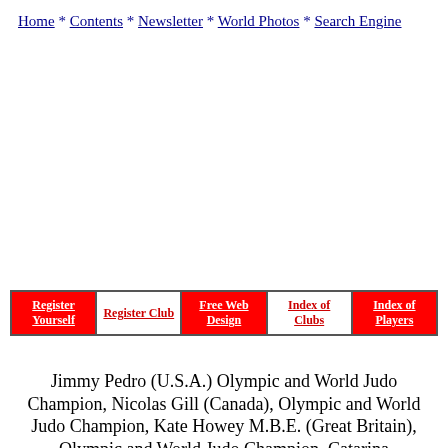Home * Contents * Newsletter * World Photos * Search Engine
| Register Yourself | Register Club | Free Web Design | Index of Clubs | Index of Players |
| --- | --- | --- | --- | --- |
Jimmy Pedro (U.S.A.) Olympic and World Judo Champion, Nicolas Gill (Canada), Olympic and World Judo Champion, Kate Howey M.B.E. (Great Britain), Olympic and World Judo Champion, Catarina